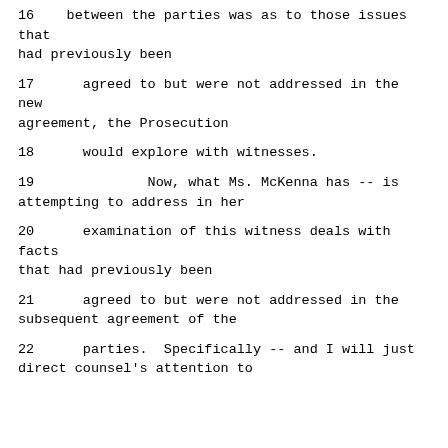16    between the parties was as to those issues that had previously been
17      agreed to but were not addressed in the new agreement, the Prosecution
18      would explore with witnesses.
19              Now, what Ms. McKenna has -- is attempting to address in her
20      examination of this witness deals with facts that had previously been
21      agreed to but were not addressed in the subsequent agreement of the
22      parties.  Specifically -- and I will just direct counsel's attention to